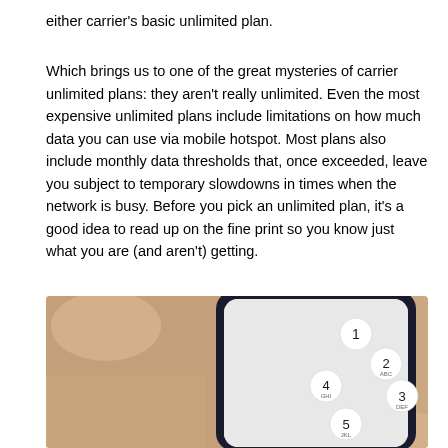either carrier's basic unlimited plan.
Which brings us to one of the great mysteries of carrier unlimited plans: they aren't really unlimited. Even the most expensive unlimited plans include limitations on how much data you can use via mobile hotspot. Most plans also include monthly data thresholds that, once exceeded, leave you subject to temporary slowdowns in times when the network is busy. Before you pick an unlimited plan, it's a good idea to read up on the fine print so you know just what you are (and aren't) getting.
[Figure (photo): A hand holding a smartphone showing the dial pad with numbers 1, 2, 3, 4, 5 visible on the screen.]